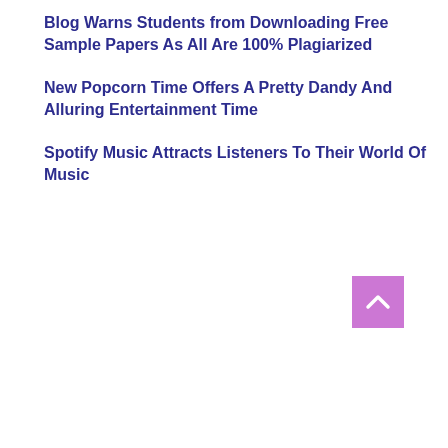Blog Warns Students from Downloading Free Sample Papers As All Are 100% Plagiarized
New Popcorn Time Offers A Pretty Dandy And Alluring Entertainment Time
Spotify Music Attracts Listeners To Their World Of Music
[Figure (other): Purple/violet square button with a white upward-pointing chevron arrow, used as a scroll-to-top navigation button]